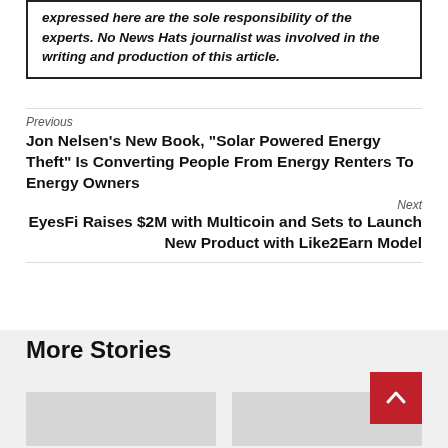expressed here are the sole responsibility of the experts. No News Hats journalist was involved in the writing and production of this article.
Previous
Jon Nelsen’s New Book, “Solar Powered Energy Theft” Is Converting People From Energy Renters To Energy Owners
Next
EyesFi Raises $2M with Multicoin and Sets to Launch New Product with Like2Earn Model
More Stories